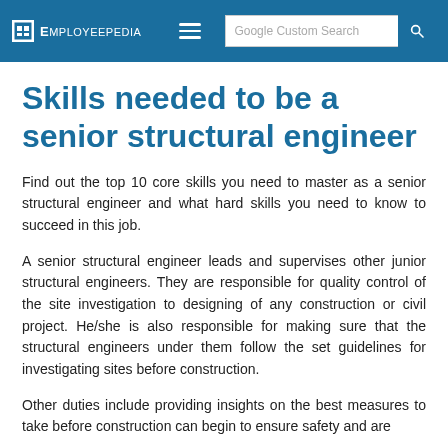Employeepedia | Google Custom Search
Skills needed to be a senior structural engineer
Find out the top 10 core skills you need to master as a senior structural engineer and what hard skills you need to know to succeed in this job.
A senior structural engineer leads and supervises other junior structural engineers. They are responsible for quality control of the site investigation to designing of any construction or civil project. He/she is also responsible for making sure that the structural engineers under them follow the set guidelines for investigating sites before construction.
Other duties include providing insights on the best measures to take before construction can begin to ensure safety and are